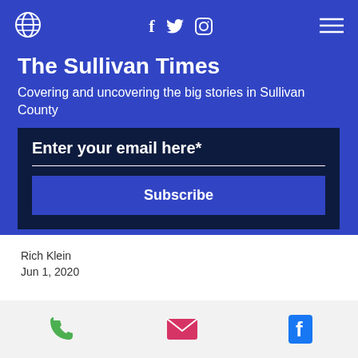[Figure (screenshot): Navigation bar with globe logo, social media icons (Facebook, Twitter, Instagram), and hamburger menu on blue background]
The Sullivan Times
Covering and uncovering the big stories in Sullivan County
Enter your email here*
Subscribe
Rich Klein
Jun 1, 2020
[Figure (infographic): Bottom action bar with phone (green), email (pink/red), and Facebook (blue) icons]